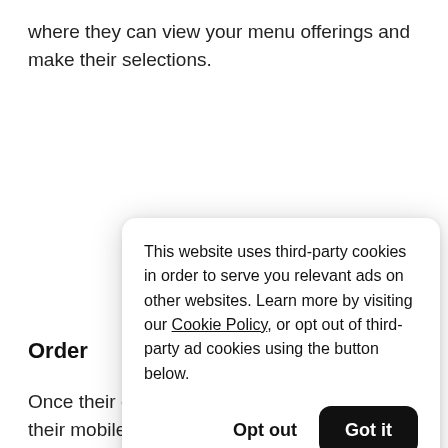where they can view your menu offerings and make their selections.
[Figure (screenshot): Cookie consent popup overlay. Text: 'This website uses third-party cookies in order to serve you relevant ads on other websites. Learn more by visiting our Cookie Policy, or opt out of third-party ad cookies using the button below.' Buttons: 'Opt out' and 'Got it' (black rounded button).]
Order
Once their c their mobile device–no need for them to handle